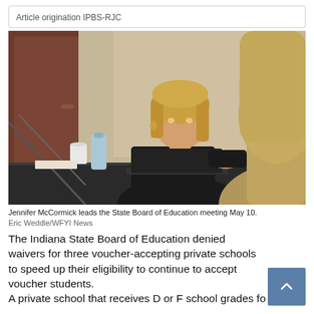Article origination IPBS-RJC
[Figure (photo): Jennifer McCormick leads the State Board of Education meeting May 10. A woman with blonde hair in a black outfit sits at a conference table holding a tablet/laptop, speaking. Another person with blonde hair is seen from behind in the foreground.]
Jennifer McCormick leads the State Board of Education meeting May 10.
Eric Weddle/WFYI News
The Indiana State Board of Education denied waivers for three voucher-accepting private schools to speed up their eligibility to continue to accept voucher students.
A private school that receives D or F school grades fo